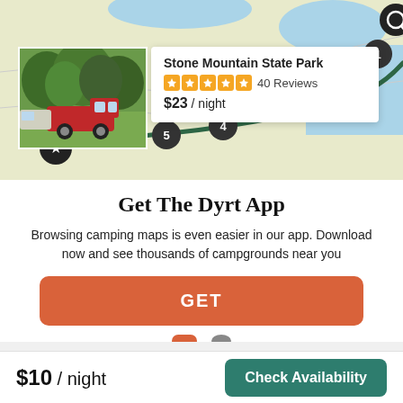[Figure (map): Map showing a camping route with numbered pins (1-5) and a star pin, overlaid with a green route line. A campsite popup card shows Stone Mountain State Park info. A photo of a campsite with a red truck is visible.]
Get The Dyrt App
Browsing camping maps is even easier in our app. Download now and see thousands of campgrounds near you
GET
$10 / night
Check Availability